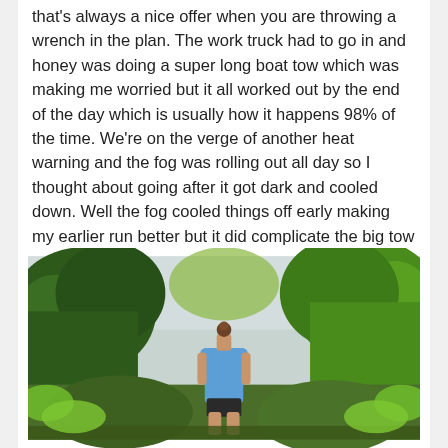that's always a nice offer when you are throwing a wrench in the plan. The work truck had to go in and honey was doing a super long boat tow which was making me worried but it all worked out by the end of the day which is usually how it happens 98% of the time. We're on the verge of another heat warning and the fog was rolling out all day so I thought about going after it got dark and cooled down. Well the fog cooled things off early making my earlier run better but it did complicate the big tow earlier in the day.
[Figure (photo): Person in a blue tank top with hair in a bun, viewed from behind, standing on a trail or path surrounded by lush green trees and foliage, with an overcast sky visible above.]